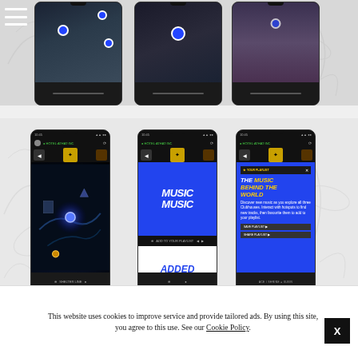[Figure (screenshot): Three smartphone screens showing a dark-themed mobile app with blue location dots overlaid on 3D game-like environments. Each phone has a bottom control bar.]
[Figure (screenshot): Three smartphone screens: first shows a dark game map, second shows a blue screen with 'MUSIC MUSIC' and white screen with 'ADDED ADDED' in bold italic, third shows a blue info panel titled 'THE MUSIC BEHIND THE WORLD' with body text and playlist buttons.]
This website uses cookies to improve service and provide tailored ads. By using this site, you agree to this use. See our Cookie Policy.